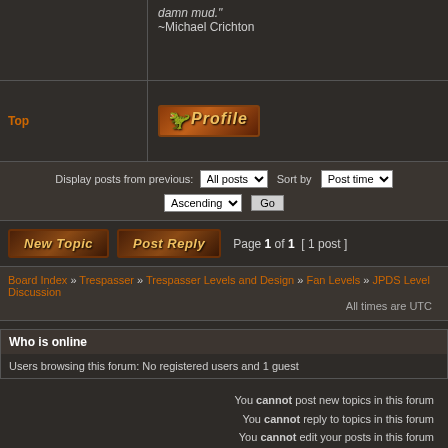damn mud."
~Michael Crichton
Top
[Figure (illustration): Profile badge button with orange/brown textured background]
Display posts from previous: All posts  Sort by  Post time
Ascending  Go
[Figure (illustration): New Topic button with textured dark brown background]
[Figure (illustration): Post Reply button with textured dark brown background]
Page 1 of 1  [ 1 post ]
Board Index » Trespasser » Trespasser Levels and Design » Fan Levels » JPDS Level Discussion
All times are UTC
Who is online
Users browsing this forum: No registered users and 1 guest
You cannot post new topics in this forum
You cannot reply to topics in this forum
You cannot edit your posts in this forum
You cannot delete your posts in this forum
You cannot post attachments in this forum
Search for:
Jump to:  JPDS Level Discussion  Go
Powered by phpBB® Forum Software © phpBB Group